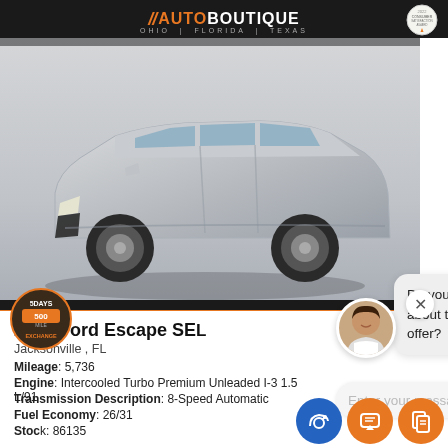AUTO BOUTIQUE | OHIO | FLORIDA | TEXAS
[Figure (photo): Silver 2021 Ford Escape SEL SUV shown in 3/4 front view on a neutral background]
[Figure (infographic): 5 Days Exchange badge logo in brown/orange circle]
[Figure (screenshot): Chat interface overlay with avatar, chat bubble asking 'Do you have any questions about the new inventory we offer?' and message input field]
2021 Ford Escape SEL
Jacksonville , FL
Mileage: 5,736
Engine: Intercooled Turbo Premium Unleaded I-3 1.5 L/91
Transmission Description: 8-Speed Automatic
Fuel Economy: 26/31
Stock: 86135